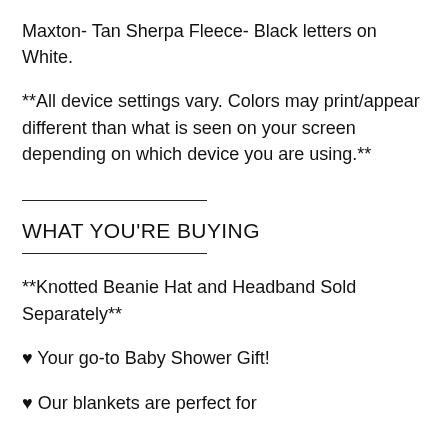Maxton- Tan Sherpa Fleece- Black letters on White.
**All device settings vary. Colors may print/appear different than what is seen on your screen depending on which device you are using.**
WHAT YOU'RE BUYING
**Knotted Beanie Hat and Headband Sold Separately**
❤ Your go-to Baby Shower Gift!
❤ Our blankets are perfect for